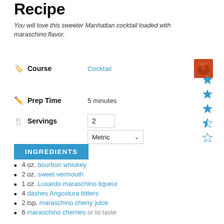Recipe
You will love this sweeter Manhattan cocktail loaded with maraschino flavor.
Course: Cocktail
Prep Time: 5 minutes
Servings: 2, Metric
INGREDIENTS
4 oz. bourbon whiskey
2 oz. sweet vermouth
1 oz. Luxardo maraschino liqueur
4 dashes Angostura bitters
2 tsp. maraschino cherry juice
6 maraschino cherries or to taste